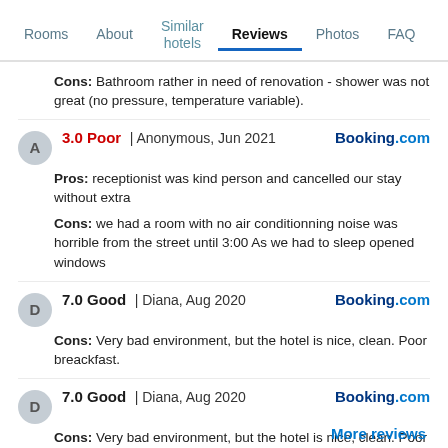Rooms | About | Similar hotels | Reviews | Photos | FAQ
Cons: Bathroom rather in need of renovation - shower was not great (no pressure, temperature variable).
3.0 Poor | Anonymous, Jun 2021 | Booking.com
Pros: receptionist was kind person and cancelled our stay without extra
Cons: we had a room with no air conditionning noise was horrible from the street until 3:00 As we had to sleep opened windows
7.0 Good | Diana, Aug 2020 | Booking.com
Cons: Very bad environment, but the hotel is nice, clean. Poor breackfast.
7.0 Good | Diana, Aug 2020 | Booking.com
Cons: Very bad environment, but the hotel is nice, clean. Poor breackfast.
More reviews